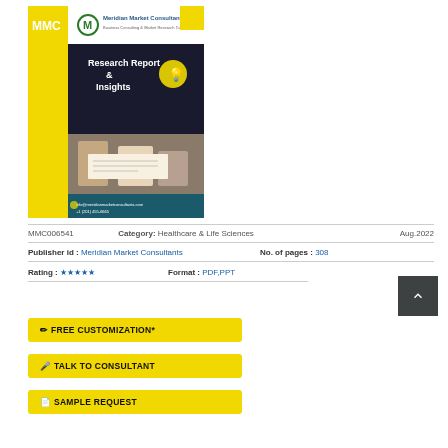[Figure (illustration): MMC Research Report & Insights cover with logo, business photo, and contact details]
MMC006541   Category: Healthcare & Life Sciences   Aug.2022
Publisher id : Meridian Market Consultants   No. of pages : 308
Rating : ★★★★★   Format : PDF,PPT
FREE CUSTOMIZATION*
TALK TO CONSULTANT
SAMPLE REQUEST